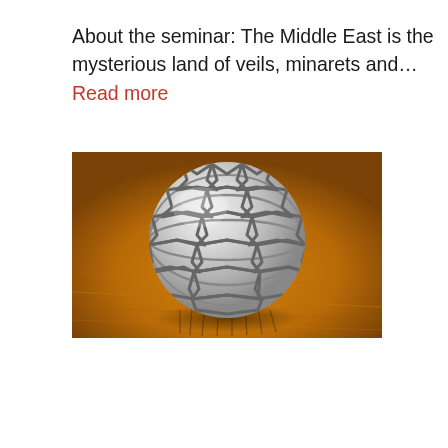About the seminar: The Middle East is the mysterious land of veils, minarets and... Read more
[Figure (photo): A decorative silver lattice sphere with Islamic geometric patterns, resting on a warm wooden surface with its shadow visible beneath it.]